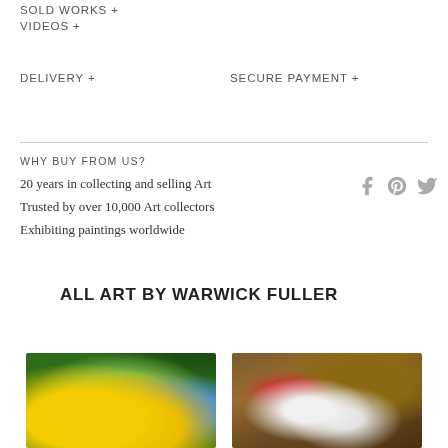SOLD WORKS +
VIDEOS +
DELIVERY +
SECURE PAYMENT +
WHY BUY FROM US?
20 years in collecting and selling Art
Trusted by over 10,000 Art collectors
Exhibiting paintings worldwide
[Figure (other): Social media icons: Facebook, Pinterest, Twitter]
ALL ART BY WARWICK FULLER
[Figure (photo): Painting of yellow wildflowers with blue flowers against a dark green background]
[Figure (photo): Painting of white and red flowers growing between rocky stone surfaces]